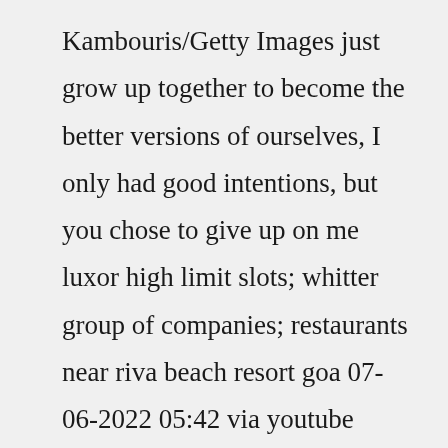Kambouris/Getty Images just grow up together to become the better versions of ourselves, I only had good intentions, but you chose to give up on me luxor high limit slots; whitter group of companies; restaurants near riva beach resort goa 07-06-2022 05:42 via youtube Scroll through the apps listed on the Notifications and choose Messenger